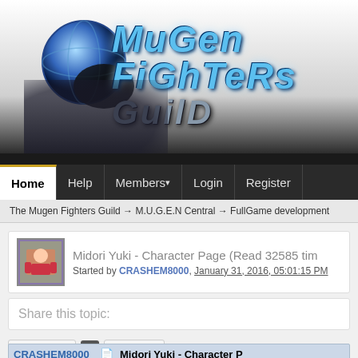[Figure (logo): Mugen Fighters Guild logo with globe and stylized text]
Home | Help | Members | Login | Register
The Mugen Fighters Guild → M.U.G.E.N Central → FullGame development
Midori Yuki - Character Page (Read 32585 times)
Started by CRASHEM8000, January 31, 2016, 05:01:15 PM
Share this topic:
Page 1 of 1  1  Go Down
CRASHEM8000    Midori Yuki - Character P